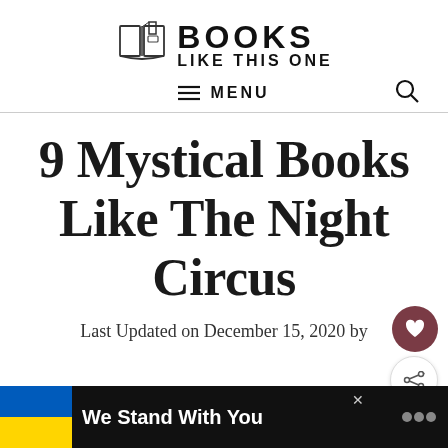[Figure (logo): Books Like This One logo with open book icon and bold text 'BOOKS LIKE THIS ONE']
≡ MENU
9 Mystical Books Like The Night Circus
Last Updated on December 15, 2020 by
[Figure (infographic): We Stand With You banner with Ukraine flag colors (blue and yellow) on black background]